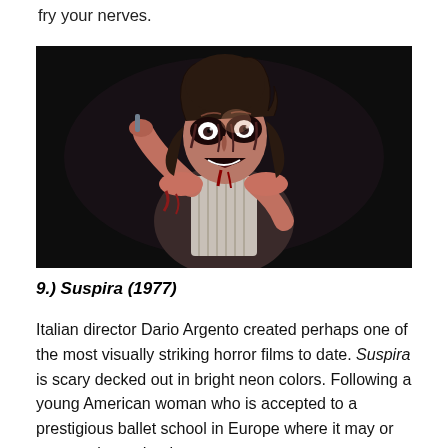fry your nerves.
[Figure (photo): A woman with horror makeup — bloody, distorted face with wide eyes and open mouth, dark curly hair, raising one arm, lit dramatically against a black background. Still from a horror film.]
9.) Suspira (1977)
Italian director Dario Argento created perhaps one of the most visually striking horror films to date. Suspira is scary decked out in bright neon colors. Following a young American woman who is accepted to a prestigious ballet school in Europe where it may or may not be under the